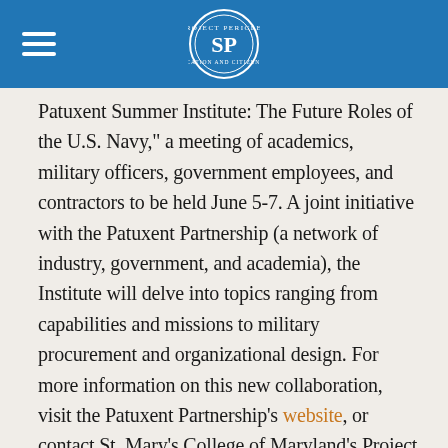Project Pericles
Patuxent Summer Institute: The Future Roles of the U.S. Navy," a meeting of academics, military officers, government employees, and contractors to be held June 5-7. A joint initiative with the Patuxent Partnership (a network of industry, government, and academia), the Institute will delve into topics ranging from capabilities and missions to military procurement and organizational design. For more information on this new collaboration, visit the Patuxent Partnership's website, or contact St. Mary's College of Maryland's Project Pericles Co-Program Director Dr.